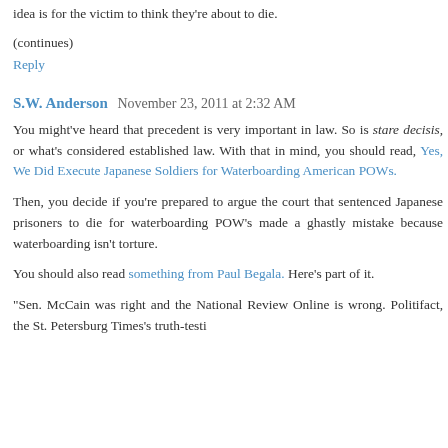idea is for the victim to think they're about to die.
(continues)
Reply
S.W. Anderson  November 23, 2011 at 2:32 AM
You might've heard that precedent is very important in law. So is stare decisis, or what's considered established law. With that in mind, you should read, Yes, We Did Execute Japanese Soldiers for Waterboarding American POWs.
Then, you decide if you're prepared to argue the court that sentenced Japanese prisoners to die for waterboarding POW's made a ghastly mistake because waterboarding isn't torture.
You should also read something from Paul Begala. Here's part of it.
"Sen. McCain was right and the National Review Online is wrong. Politifact, the St. Petersburg Times's truth-testing